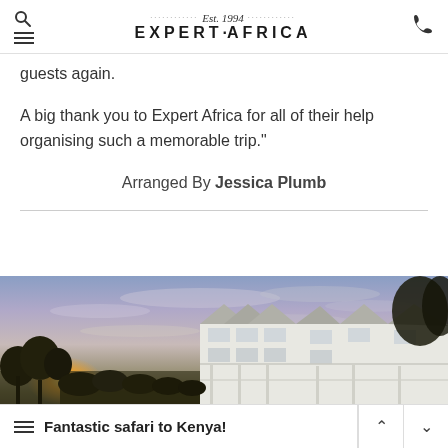Est. 1994 EXPERT·AFRICA
guests again.
A big thank you to Expert Africa for all of their help organising such a memorable trip."
Arranged By Jessica Plumb
[Figure (photo): Hotel or lodge building at sunset with a dramatic cloudy sky in purples and blues, trees in foreground left, multi-storey colonial-style white building on the right.]
Fantastic safari to Kenya!